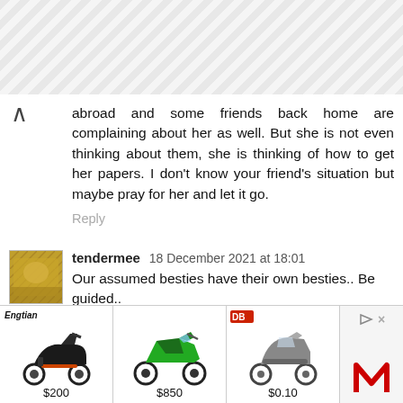[Figure (other): Decorative geometric hexagon/diamond pattern background at top]
abroad and some friends back home are complaining about her as well. But she is not even thinking about them, she is thinking of how to get her papers. I don't know your friend's situation but maybe pray for her and let it go.
Reply
tendermee   18 December 2021 at 18:01
Our assumed besties have their own besties.. Be guided..
Reply
▾ Replies
[Figure (other): Advertisement banner showing three motorcycles/scooters with prices $200, $850, $0.10 from brands Engtian and DB Cargo, with Adidas-style M logo]